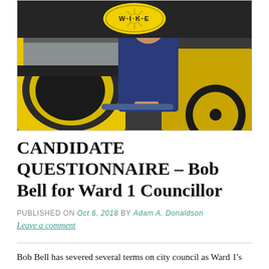[Figure (photo): Man in blue shirt standing next to a yellow WIKE branded bicycle trailer or cargo bike, with the WIKE logo visible on yellow circular badge at top center of the image.]
CANDIDATE QUESTIONNAIRE – Bob Bell for Ward 1 Councillor
PUBLISHED ON Oct 6, 2018 by Adam A. Donaldson
Leave a comment
Bob Bell has severed several terms on city council as Ward 1's